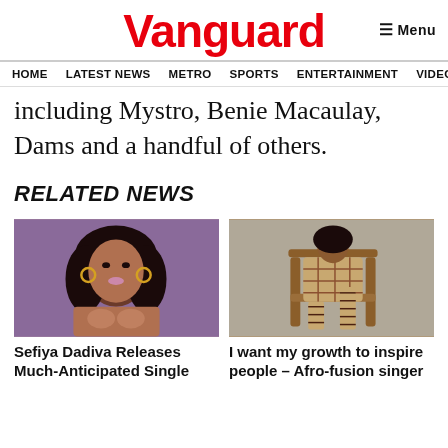Vanguard
Menu
HOME  LATEST NEWS  METRO  SPORTS  ENTERTAINMENT  VIDEOS
including Mystro, Benie Macaulay, Dams and a handful of others.
RELATED NEWS
[Figure (photo): Photo of Sefiya Dadiva, a woman with large hoop earrings and dark curly hair against a purple background]
Sefiya Dadiva Releases Much-Anticipated Single
[Figure (photo): Photo of an Afro-fusion singer seated on a wooden chair, wearing a patterned outfit with strappy heels]
I want my growth to inspire people – Afro-fusion singer